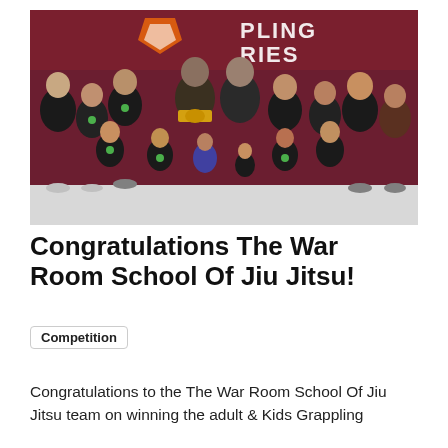[Figure (photo): Group photo of The War Room School of Jiu Jitsu team standing in front of a dark red banner with a shield logo and text reading 'GRAPPLING SERIES'. Team members are wearing black team shirts and medals, with two adults in the center holding large championship belts.]
Congratulations The War Room School Of Jiu Jitsu!
Competition
Congratulations to the The War Room School Of Jiu Jitsu team on winning the adult & Kids Grappling